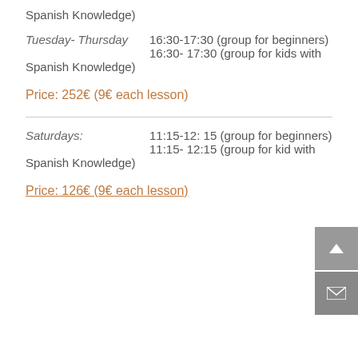Spanish Knowledge)
Tuesday- Thursday   16:30-17:30 (group for beginners)
16:30- 17:30 (group for kids with Spanish Knowledge)
Price: 252€ (9€ each lesson)
Saturdays:   11:15-12: 15 (group for beginners)
11:15- 12:15 (group for kid with Spanish Knowledge)
Price: 126€ (9€ each lesson)